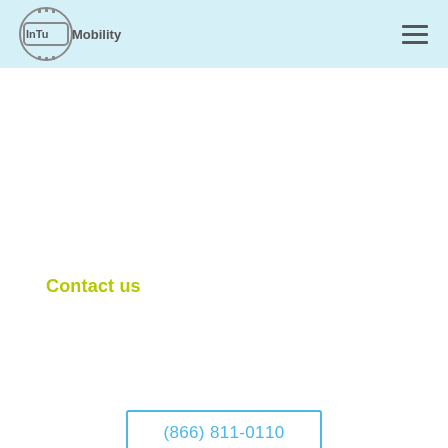[Figure (logo): InTu Mobility logo with circular gear/cog emblem and company name text]
Contact us
(866) 811-0110